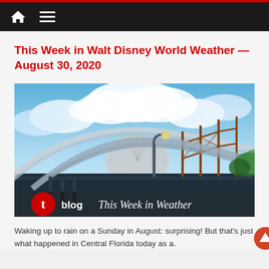Navigation bar with home icon and menu icon
This Week in Walt Disney World Weather — August 30, 2020
[Figure (photo): Photo of Space Mountain and roller coaster tracks at Walt Disney World with blue cloudy sky. Overlay shows 't blog  This Week in Weather' branding in the lower portion.]
Waking up to rain on a Sunday in August: surprising! But that's just what happened in Central Florida today as a.